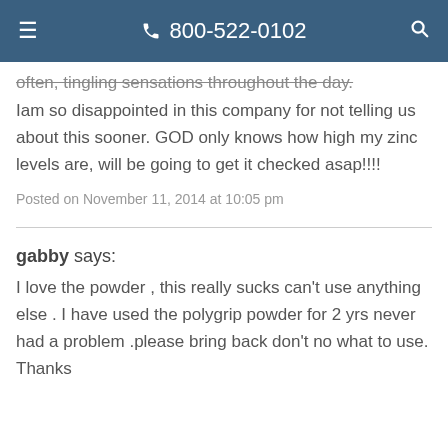☰  800-522-0102  🔍
often, tingling sensations throughout the day. Iam so disappointed in this company for not telling us about this sooner. GOD only knows how high my zinc levels are, will be going to get it checked asap!!!!
Posted on November 11, 2014 at 10:05 pm
gabby says:
I love the powder , this really sucks can't use anything else . I have used the polygrip powder for 2 yrs never had a problem .please bring back don't no what to use. Thanks